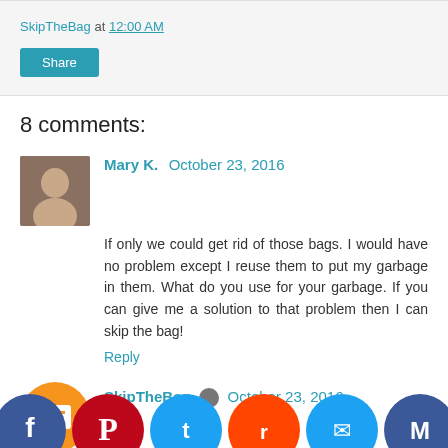SkipTheBag at 12:00 AM
Share
8 comments:
Mary K.  October 23, 2016
If only we could get rid of those bags. I would have no problem except I reuse them to put my garbage in them. What do you use for your garbage. If you can give me a solution to that problem then I can skip the bag!
Reply
SkipTheBag  October 23, 2016
We eliminated liner m ou throom offices d re bi sti 3 c ags r k